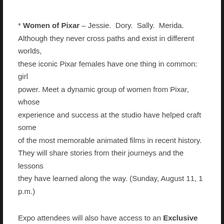* Women of Pixar – Jessie. Dory. Sally. Merida. Although they never cross paths and exist in different worlds, these iconic Pixar females have one thing in common: girl power. Meet a dynamic group of women from Pixar, whose experience and success at the studio have helped craft some of the most memorable animated films in recent history. They will share stories from their journeys and the lessons they have learned along the way. (Sunday, August 11, 1 p.m.)
Expo attendees will also have access to an Exclusive Screening of Disney's Planes in 3D, featuring an introduction by some very special guests. (Friday, August 9, 3 p.m.)